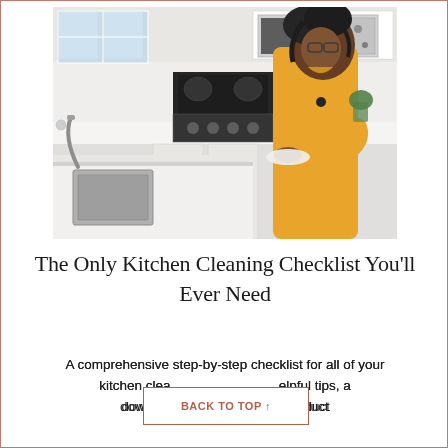[Figure (photo): A woman in a yellow outfit wiping a white kitchen countertop with a cloth. The kitchen has white cabinets, a stainless steel microwave, a black electric stove, and a farmhouse sink.]
The Only Kitchen Cleaning Checklist You'll Ever Need
A comprehensive step-by-step checklist for all of your kitchen cleaning needs, helpful tips, a downloadable checklist, and product